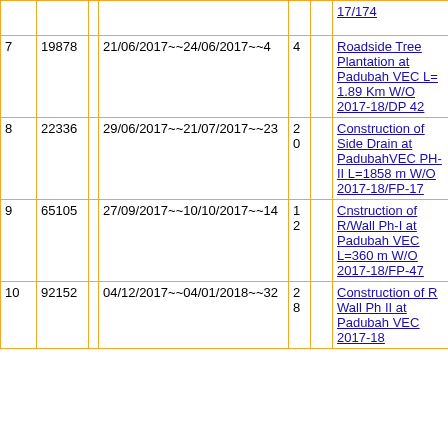| # | Amount |  | Dates |  |  | Work Order / Description |
| --- | --- | --- | --- | --- | --- | --- |
|  |  |  |  |  |  | 17/174 |
| 7 | 19878 |  | 21/06/2017~~24/06/2017~~4 | 4 |  | Roadside Tree Plantation at Padubah VEC L= 1.89 Km W/O 2017-18/DP 42 |
| 8 | 22336 |  | 29/06/2017~~21/07/2017~~23 | 20 |  | Construction of Side Drain at PadubahVEC PH-II L=1858 m W/O 2017-18/FP-17 |
| 9 | 65105 |  | 27/09/2017~~10/10/2017~~14 | 12 |  | Cnstruction of R/Wall Ph-I at Padubah VEC L=360 m W/O 2017-18/FP-47 |
| 10 | 92152 |  | 04/12/2017~~04/01/2018~~32 | 28 |  | Construction of R Wall Ph II at Padubah VEC 2017-18 |